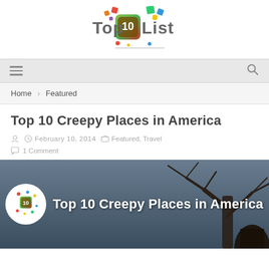[Figure (logo): Top 10 List logo with colorful squares and stylized text]
Navigation bar with hamburger menu and search icon
Home > Featured
Top 10 Creepy Places in America
February 10, 2014   Featured, Travel   1 Comment
[Figure (photo): Dark moody image of bare tree branches against grey sky with Top 10 Creepy Places in America overlay text and Top 10 List logo]